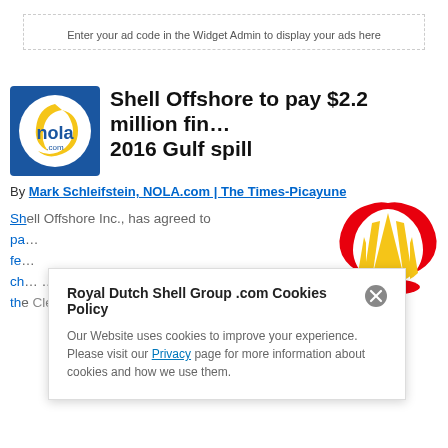Enter your ad code in the Widget Admin to display your ads here
[Figure (logo): NOLA.com logo — blue square with white circle containing a yellow crescent moon and 'nola' text with '.com' beneath]
Shell Offshore to pay $2.2 million fin… 2016 Gulf spill
By Mark Schleifstein, NOLA.com | The Times-Picayune
[Figure (logo): Shell logo — red and yellow scallop shell on white background]
Shell Offshore Inc. has agreed to pa… fe… ch… the Clean Water Act by spilling…
Royal Dutch Shell Group .com Cookies Policy
Our Website uses cookies to improve your experience. Please visit our Privacy page for more information about cookies and how we use them.